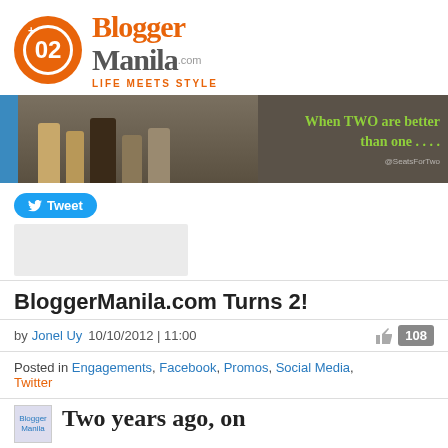[Figure (logo): BloggerManila.com logo with orange circle containing +02, orange Blogger text, gray Manila text, and tagline LIFE MEETS STYLE]
[Figure (photo): Banner photo showing high-heeled shoes close-up with text 'When TWO are better than one....' in green on dark background, @SeatsForTwo credit]
[Figure (screenshot): Twitter Tweet button (blue pill shape) with bird icon and 'Tweet' text, and a gray box below it]
BloggerManila.com Turns 2!
by Jonel Uy 10/10/2012 | 11:00 [108 likes]
Posted in Engagements, Facebook, Promos, Social Media, Twitter
Two years ago, on